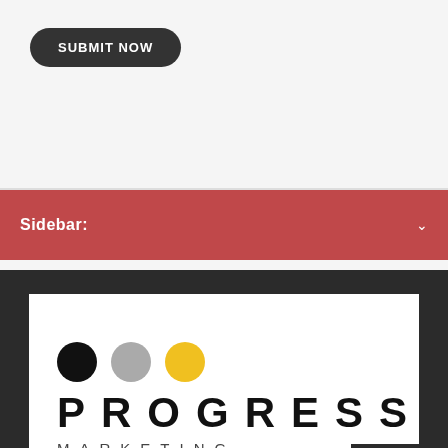[Figure (screenshot): SUBMIT NOW button with dark rounded pill shape on light gray background]
Sidebar:
[Figure (logo): Progress Marketing logo with three circles (black, gray, yellow) above bold spaced text PROGRESS and below lighter spaced text MARKETING]